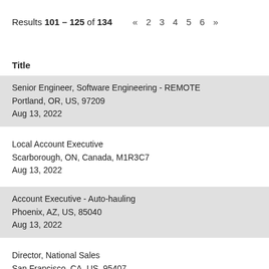Results 101 – 125 of 134  «  2  3  4  5  6  »
Title
Senior Engineer, Software Engineering - REMOTE
Portland, OR, US, 97209
Aug 13, 2022
Local Account Executive
Scarborough, ON, Canada, M1R3C7
Aug 13, 2022
Account Executive - Auto-hauling
Phoenix, AZ, US, 85040
Aug 13, 2022
Director, National Sales
San Francisco, CA, US, 95407
Aug 14, 2022